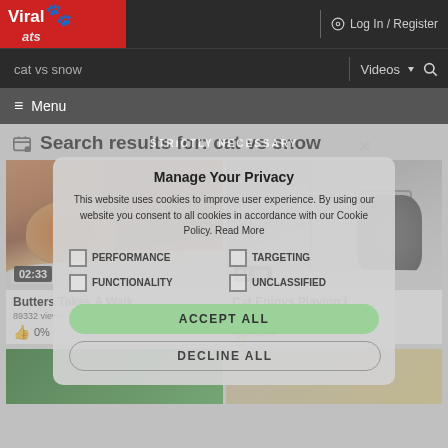Viral Cats – Log In / Register
cat vs snow | Videos
≡ Menu
Search results for: cat vs snow
[Figure (screenshot): Video thumbnail: orange cat walking in snow near brick wall, duration 02:33]
Butters Takes A Walk...
89332 views   968 days ago
👍 0%
[Figure (screenshot): Video thumbnail: grey cat at cat flap in snowy scene, duration 01:08]
Cat Enjoys Playing I...
67766 views   2292 days ago
👍 99%
[Figure (screenshot): Privacy consent overlay dialog with cookie options]
Manage Your Privacy
This website uses cookies to improve user experience. By using our website you consent to all cookies in accordance with our Cookie Policy. Read More
STRICTLY NECESSARY
PERFORMANCE
TARGETING
FUNCTIONALITY
UNCLASSIFIED
ACCEPT ALL
DECLINE ALL